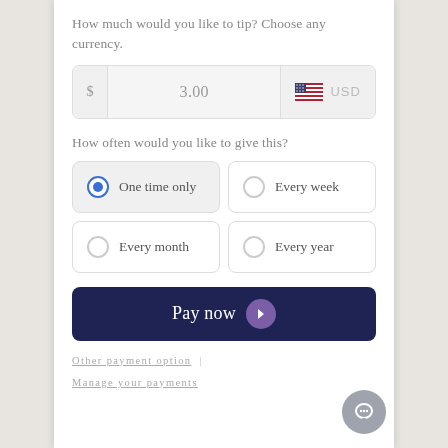How much would you like to tip? Choose any currency.
[Figure (screenshot): Currency input field showing $3.00 with USD flag selector]
How often would you like to give this?
One time only (selected)
Every week
Every month
Every year
Pay now
Other payment option | Manage your payments